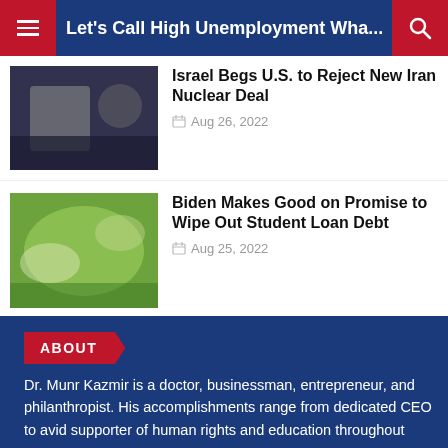Let's Call High Unemployment Wha...
Israel Begs U.S. to Reject New Iran Nuclear Deal
Aug 26, 2022
Biden Makes Good on Promise to Wipe Out Student Loan Debt
Aug 25, 2022
ABOUT
Dr. Munr Kazmir is a doctor, businessman, entrepreneur, and philanthropist. His accomplishments range from dedicated CEO
to avid supporter of human rights and education throughout